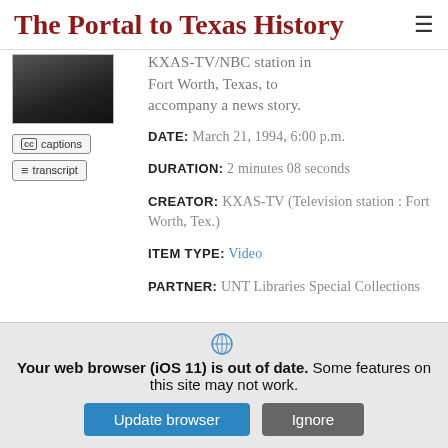The Portal to Texas History
[Figure (photo): Thumbnail image of a person, partially visible, dark clothing, dark background]
KXAS-TV/NBC station in Fort Worth, Texas, to accompany a news story.
DATE: March 21, 1994, 6:00 p.m.
DURATION: 2 minutes 08 seconds
CREATOR: KXAS-TV (Television station : Fort Worth, Tex.)
ITEM TYPE: Video
PARTNER: UNT Libraries Special Collections
Your web browser (iOS 11) is out of date. Some features on this site may not work.